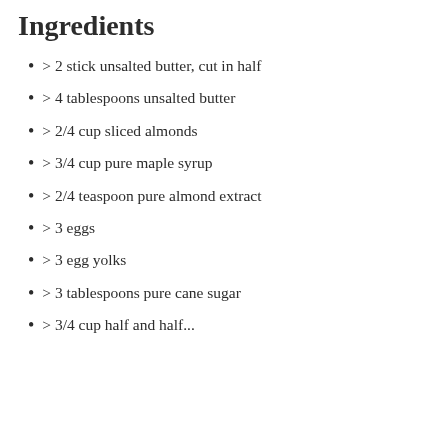Ingredients
> 2 stick unsalted butter, cut in half
> 4 tablespoons unsalted butter
> 2/4 cup sliced almonds
> 3/4 cup pure maple syrup
> 2/4 teaspoon pure almond extract
> 3 eggs
> 3 egg yolks
> 3 tablespoons pure cane sugar
> 3/4 cup half and half...